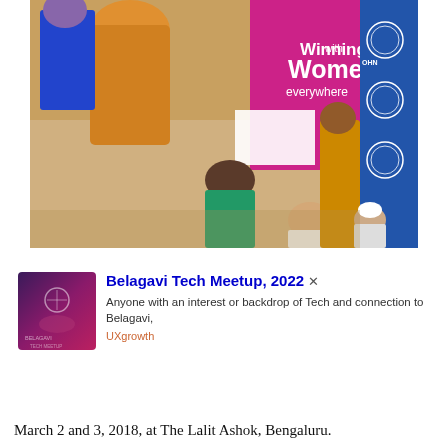[Figure (photo): Event photo showing women in colorful traditional Indian sarees at an award ceremony. A plaque/shield is being presented. Background banner reads 'Winning with Women everywhere' in pink/magenta. Multiple people visible on stage.]
[Figure (logo): Thumbnail image for Belagavi Tech Meetup 2022, showing a dark purple/pink gradient background with event branding.]
Belagavi Tech Meetup, 2022
Anyone with an interest or backdrop of Tech and connection to Belagavi,
UXgrowth
March 2 and 3, 2018, at The Lalit Ashok, Bengaluru.